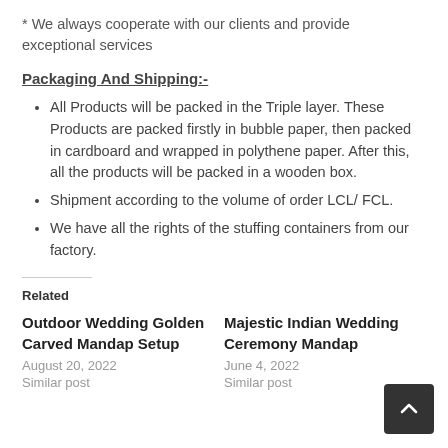* We always cooperate with our clients and provide exceptional services
Packaging And Shipping:-
All Products will be packed in the Triple layer. These Products are packed firstly in bubble paper, then packed in cardboard and wrapped in polythene paper. After this, all the products will be packed in a wooden box.
Shipment according to the volume of order LCL/ FCL.
We have all the rights of the stuffing containers from our factory.
Related
Outdoor Wedding Golden Carved Mandap Setup
August 20, 2022
Similar post
Majestic Indian Wedding Ceremony Mandap
June 4, 2022
Similar post